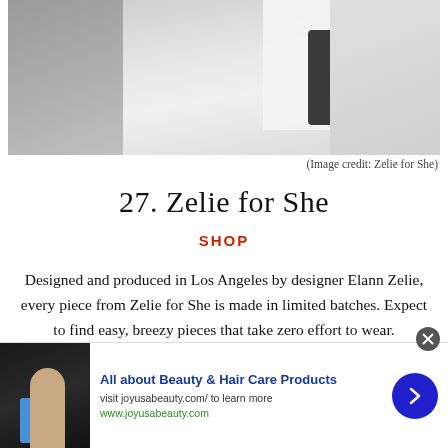[Figure (photo): Partial view of a person in white clothing, taken in a minimalist setting — appears to be a fashion/lifestyle photo for Zelie for She brand]
(Image credit: Zelie for She)
27. Zelie for She
SHOP
Designed and produced in Los Angeles by designer Elann Zelie, every piece from Zelie for She is made in limited batches. Expect to find easy, breezy pieces that take zero effort to wear.
[Figure (photo): Advertisement banner for 'All about Beauty & Hair Care Products' by joyusabeauty.com, featuring a person holding a blue bottle, with a blue arrow button]